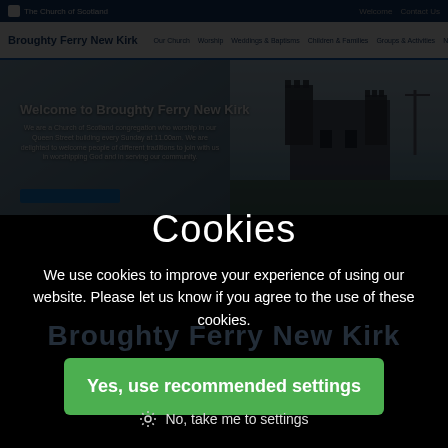[Figure (screenshot): Screenshot of the Broughty Ferry New Kirk website showing the Church of Scotland navigation bar at top, main navigation with site title and links (Our Church, Worship, Weddings & Baptisms, Children & Families, Groups & Activities, News & Events), and a hero image section with welcome text and a castle photo on the right.]
Cookies
We use cookies to improve your experience of using our website. Please let us know if you agree to the use of these cookies.
Yes, use recommended settings
No, take me to settings